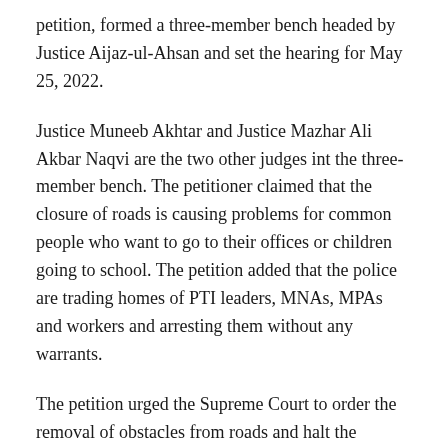petition, formed a three-member bench headed by Justice Aijaz-ul-Ahsan and set the hearing for May 25, 2022.
Justice Muneeb Akhtar and Justice Mazhar Ali Akbar Naqvi are the two other judges int the three-member bench. The petitioner claimed that the closure of roads is causing problems for common people who want to go to their offices or children going to school. The petition added that the police are trading homes of PTI leaders, MNAs, MPAs and workers and arresting them without any warrants.
The petition urged the Supreme Court to order the removal of obstacles from roads and halt the security agencies from committing any unconstitutional acts.
Police in the wee hours of Tuesday raided former interior minister Sheikh Rasheed's residence, Lal Haveli ahead of PTI's Azadi March...